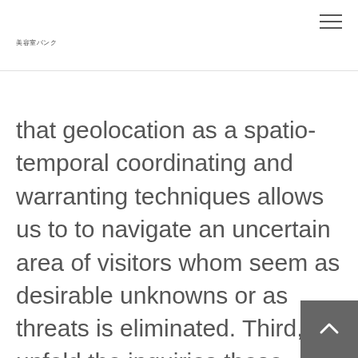美容室バンク
that geolocation as a spatio-temporal coordinating and warranting techniques allows us to to navigate an uncertain area of visitors whom seem as desirable unknowns or as threats is eliminated. Third, we unfold the inquiries these ideas deliver in terms of the cultural a style of mapping, arguing that maps generated by geolocation strategies invite the user to assume a double views from the online dating processes as concurrently absorbed plus regulation. This two fold position also enables the uncertain